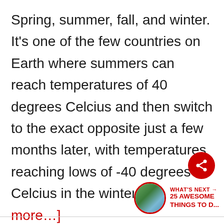Spring, summer, fall, and winter. It's one of the few countries on Earth where summers can reach temperatures of 40 degrees Celcius and then switch to the exact opposite just a few months later, with temperatures reaching lows of -40 degrees Celcius in the winter. [Read more…]
[Figure (other): Red circular share button with a share/network icon in white]
[Figure (other): What's Next promo box with a circular photo thumbnail and red text reading 'WHAT'S NEXT → 25 AWESOME Things to D...']